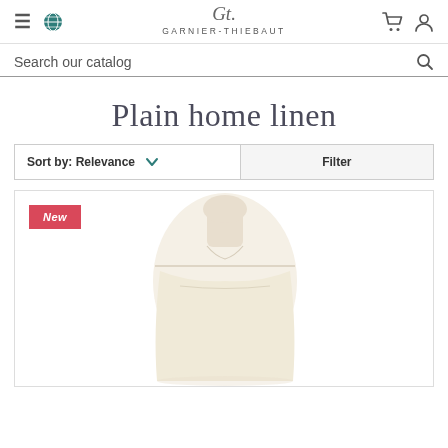GARNIER-THIEBAUT
Search our catalog
Plain home linen
Sort by: Relevance   Filter
[Figure (photo): Product photo of a cream/ivory colored linen wrap on a mannequin torso, with a 'New' badge in the top left corner]